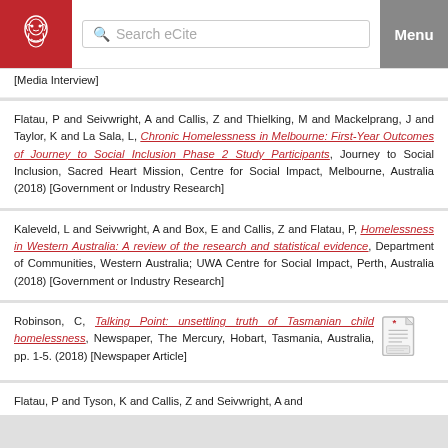Search eCite | Menu
[Media Interview]
Flatau, P and Seivwright, A and Callis, Z and Thielking, M and Mackelprang, J and Taylor, K and La Sala, L, Chronic Homelessness in Melbourne: First-Year Outcomes of Journey to Social Inclusion Phase 2 Study Participants, Journey to Social Inclusion, Sacred Heart Mission, Centre for Social Impact, Melbourne, Australia (2018) [Government or Industry Research]
Kaleveld, L and Seivwright, A and Box, E and Callis, Z and Flatau, P, Homelessness in Western Australia: A review of the research and statistical evidence, Department of Communities, Western Australia; UWA Centre for Social Impact, Perth, Australia (2018) [Government or Industry Research]
Robinson, C, Talking Point: unsettling truth of Tasmanian child homelessness, Newspaper, The Mercury, Hobart, Tasmania, Australia, pp. 1-5. (2018) [Newspaper Article]
Flatau, P and Tyson, K and Callis, Z and Seivwright, A and